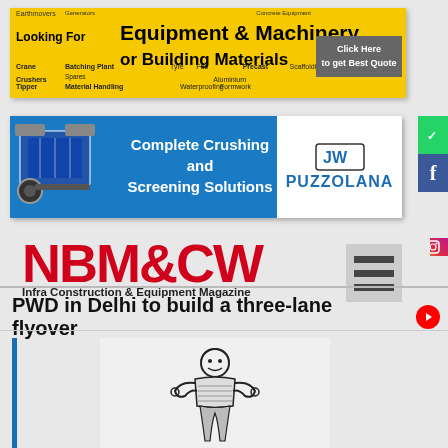[Figure (infographic): Yellow banner ad for Equipment & Machinery or Building Materials with 'Click Here to get Best Quote' button. Categories include Earthmovers, Generators, Cranes, Crushers, Batching Plant, Tipper, Material Handling, Spares, Waterproofing, Formwork, Scaffolding, Precast, Furniture.]
[Figure (infographic): Blue banner ad for Puzzolana 'Complete Crushing and Screening Solutions' with crusher machine images and Puzzolana logo on white background.]
[Figure (logo): NBM&CW Infra Construction & Equipment Magazine logo in red bold text with hamburger menu icon]
PWD in Delhi to build a three-lane flyover
[Figure (illustration): Black and white illustration/emblem of a figure (appears to be a government/PWD emblem)]